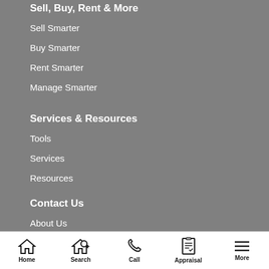Sell, Buy, Rent & More
Sell Smarter
Buy Smarter
Rent Smarter
Manage Smarter
Services & Resources
Tools
Services
Resources
Contact Us
About Us
Our Team
Careers at PRD
Home | Search | Call | Appraisal | More